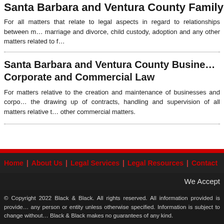Santa Barbara and Ventura County Family…
For all matters that relate to legal aspects in regard to relationships between members of a family, marriage and divorce, child custody, adoption and any other matters related to family law.
Santa Barbara and Ventura County Business, Corporate and Commercial Law
For matters relative to the creation and maintenance of businesses and corporations, including the drawing up of contracts, handling and supervision of all matters relative to business, and other commercial matters.
Home | About Us | Legal Services | Legal Resources | Contact
We Accept
© Copyright 2022 Black & Black. All rights reserved. All information provided is provided for convenience purposes only and does not constitute any person or entity unless otherwise specified. Information is subject to change without notice and Black & Black makes no guarantees of any kind.